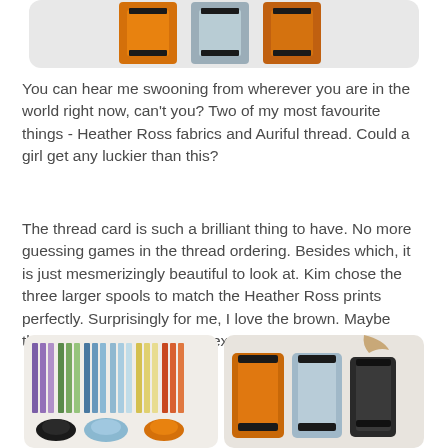[Figure (photo): Partial view of thread spools (orange, gray, dark) at the top of the page, cropped]
You can hear me swooning from wherever you are in the world right now, can't you? Two of my most favourite things - Heather Ross fabrics and Auriful thread. Could a girl get any luckier than this?
The thread card is such a brilliant thing to have. No more guessing games in the thread ordering. Besides which, it is just mesmerizingly beautiful to look at. Kim chose the three larger spools to match the Heather Ross prints perfectly. Surprisingly for me, I love the brown. Maybe that's because it is such an excellent chocolate shade.
[Figure (photo): Two side-by-side photos: left shows a colorful thread card display with rows of Auriful thread colors including purples, greens, blues, and orange/black spools at the bottom; right shows three large Auriful thread spools (orange, light blue, dark/black) with a fabric piece hanging behind them]